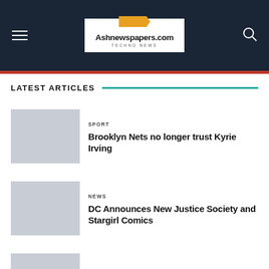Ashnewspapers.com | TECHNO NEWS
LATEST ARTICLES
SPORT
Brooklyn Nets no longer trust Kyrie Irving
NEWS
DC Announces New Justice Society and Stargirl Comics
SPORT